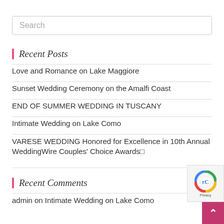[Figure (other): Search input box with placeholder text 'Search']
Recent Posts
Love and Romance on Lake Maggiore
Sunset Wedding Ceremony on the Amalfi Coast
END OF SUMMER WEDDING IN TUSCANY
Intimate Wedding on Lake Como
VARESE WEDDING Honored for Excellence in 10th Annual WeddingWire Couples' Choice Awards□
Recent Comments
admin on Intimate Wedding on Lake Como